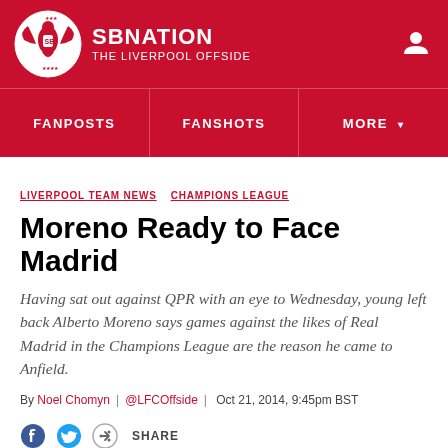SBNation — THE LIVERPOOL OFFSIDE
FANPOSTS | FANSHOTS | MORE
LIVERPOOL TEAM NEWS  CHAMPIONS LEAGUE
Moreno Ready to Face Madrid
Having sat out against QPR with an eye to Wednesday, young left back Alberto Moreno says games against the likes of Real Madrid in the Champions League are the reason he came to Anfield.
By Noel Chomyn | @LFCOffside | Oct 21, 2014, 9:45pm BST
SHARE